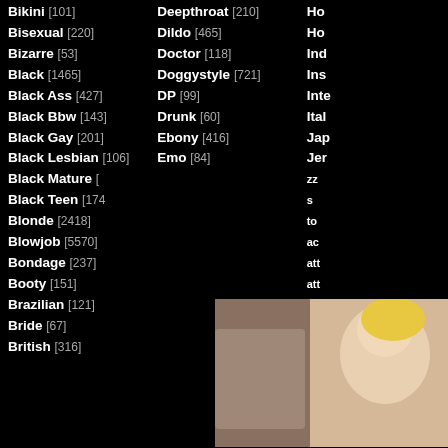Bikini [101]
Bisexual [220]
Bizarre [53]
Black [1465]
Black Ass [427]
Black Bbw [143]
Black Gay [201]
Black Lesbian [106]
Black Mature [...]
Black Teen [174...]
Blonde [2418]
Blowjob [5570]
Bondage [237]
Booty [151]
Brazilian [121]
Bride [67]
British [316]
Deepthroat [210]
Dildo [465]
Doctor [118]
Doggystyle [721]
DP [99]
Drunk [60]
Ebony [416]
Emo [84]
[Figure (photo): Popup overlay showing explicit adult content photo with close button]